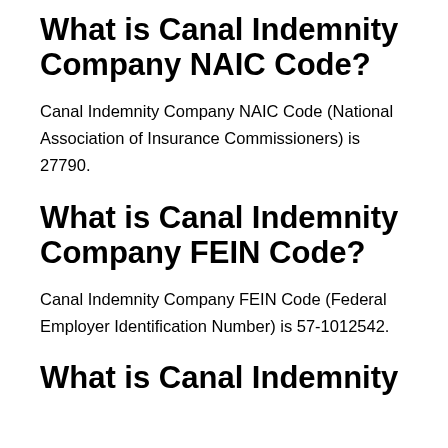What is Canal Indemnity Company NAIC Code?
Canal Indemnity Company NAIC Code (National Association of Insurance Commissioners) is 27790.
What is Canal Indemnity Company FEIN Code?
Canal Indemnity Company FEIN Code (Federal Employer Identification Number) is 57-1012542.
What is Canal Indemnity